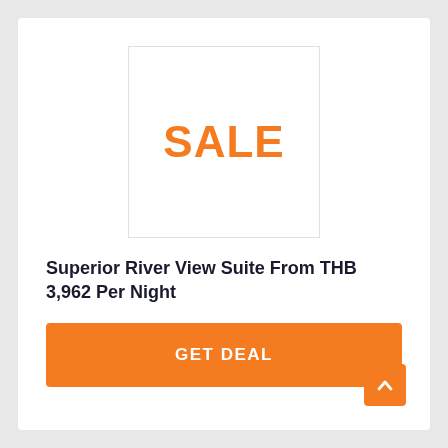[Figure (other): White square image placeholder with bold orange 'SALE' text centered inside, bordered by a light gray outline.]
Superior River View Suite From THB 3,962 Per Night
GET DEAL